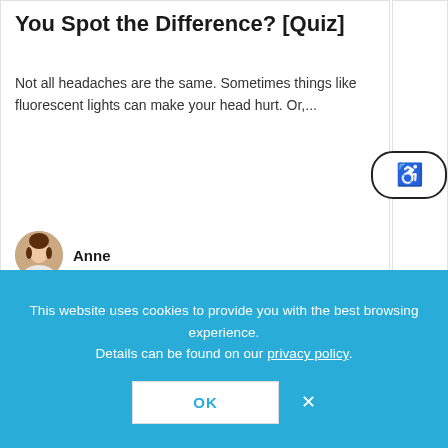You Spot the Difference? [Quiz]
Not all headaches are the same. Sometimes things like fluorescent lights can make your head hurt. Or,...
Anne
[Figure (photo): Circular avatar photo of a woman named Anne with dark hair, wearing a light-colored top]
[Figure (logo): GR8NESS logo with stylized 8, tagline YOU. starts here]
This website uses cookies to provide you with the best browsing experience. Details can be found on our privacy policy.
OK